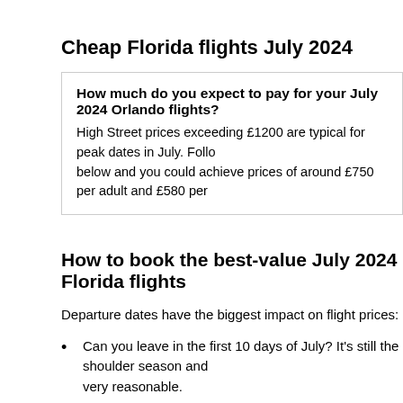Cheap Florida flights July 2024
How much do you expect to pay for your July 2024 Orlando flights? High Street prices exceeding £1200 are typical for peak dates in July. Following the advice below and you could achieve prices of around £750 per adult and £580 per
How to book the best-value July 2024 Florida flights
Departure dates have the biggest impact on flight prices:
Can you leave in the first 10 days of July? It's still the shoulder season and prices are very reasonable.
Can you leave in the second week? Fares are still good value, even on direct flights. Peak fares don't start until around mid-July.
After 17th July 2024, direct flights become more expensive. The best option is an indirect flight from Heathrow – savings are substantial.
Additional considerations include:
If possible, avoid a weekend departure. Mid-week flights are more econom